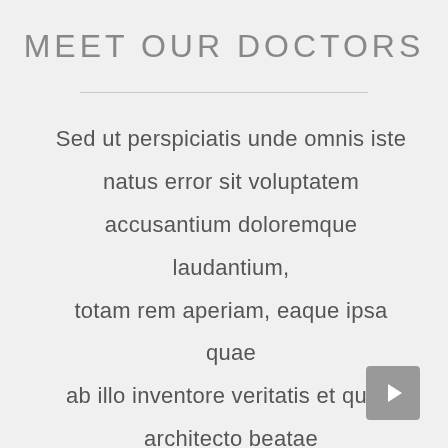MEET OUR DOCTORS
Sed ut perspiciatis unde omnis iste natus error sit voluptatem accusantium doloremque laudantium, totam rem aperiam, eaque ipsa quae ab illo inventore veritatis et quasi architecto beatae